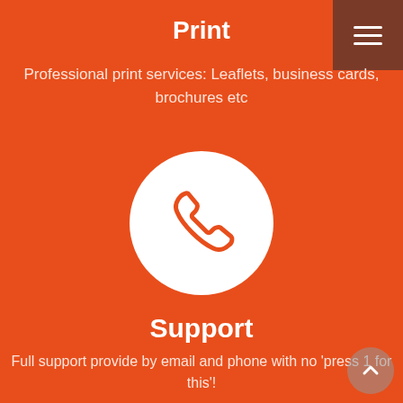Print
Professional print services: Leaflets, business cards, brochures etc
[Figure (illustration): White circle with orange telephone/phone handset icon inside]
Support
Full support provide by email and phone with no 'press 1 for this'!